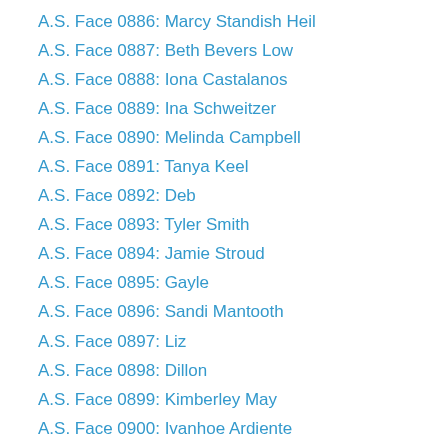A.S. Face 0886: Marcy Standish Heil
A.S. Face 0887: Beth Bevers Low
A.S. Face 0888: Iona Castalanos
A.S. Face 0889: Ina Schweitzer
A.S. Face 0890: Melinda Campbell
A.S. Face 0891: Tanya Keel
A.S. Face 0892: Deb
A.S. Face 0893: Tyler Smith
A.S. Face 0894: Jamie Stroud
A.S. Face 0895: Gayle
A.S. Face 0896: Sandi Mantooth
A.S. Face 0897: Liz
A.S. Face 0898: Dillon
A.S. Face 0899: Kimberley May
A.S. Face 0900: Ivanhoe Ardiente
A.S. Face 0901: Janelle Gingrich-Caudle “Ella”
A.S. Face 0902: Jason Hamiliton
A.S. Face 0903: Helena
A.S. Face 0904: Lisa Crowner
A.S. Face 0905: Thomas Nolle